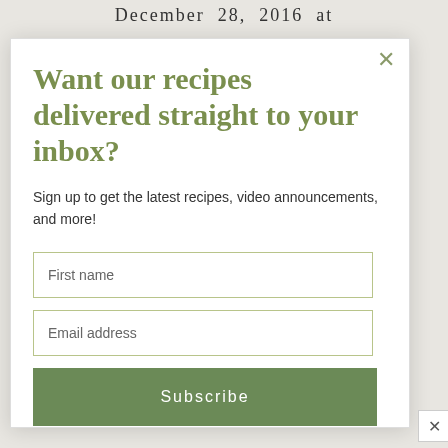December 28, 2016 at
Want our recipes delivered straight to your inbox?
Sign up to get the latest recipes, video announcements, and more!
First name
Email address
Subscribe